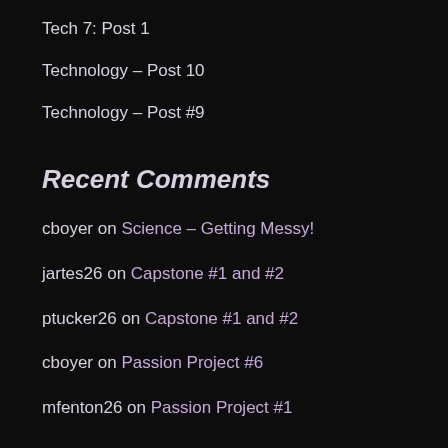Tech 7: Post 1
Technology – Post 10
Technology – Post #9
Recent Comments
cboyer on Science – Getting Messy!
jartes26 on Capstone #1 and #2
ptucker26 on Capstone #1 and #2
cboyer on Passion Project #6
mfenton26 on Passion Project #1